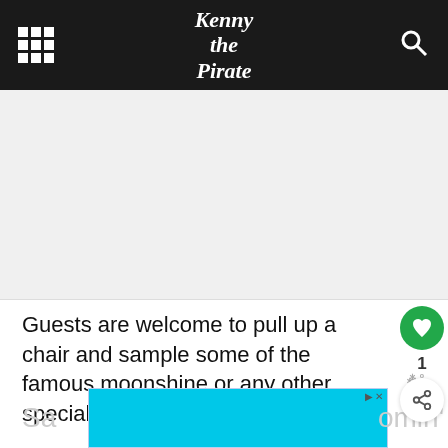Kenny the Pirate
[Figure (other): Advertisement placeholder area (light gray box)]
Guests are welcome to pull up a chair and sample some of the famous moonshine or any other specialty cocktails that they offer.
I hear they are pretty good, but did not have any while I was there. I'm sure they would taste great on a hot day!
[Figure (other): Advertisement banner (cyan/light blue color) at bottom of page]
Sa... omin'